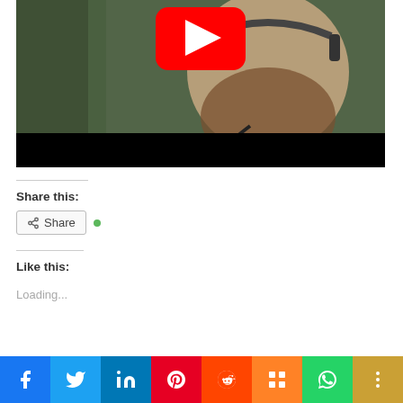[Figure (screenshot): YouTube video thumbnail showing a man with a beard wearing a headset with a microphone close to his mouth, against a dark green background. A YouTube play button (red) is visible at the top center. The bottom of the image has a black bar (video controls area).]
Share this:
[Figure (other): Share button with share icon and a green dot indicator]
Like this:
Loading...
[Figure (infographic): Social media sharing bar with icons: Facebook (blue), Twitter (light blue), LinkedIn (dark blue), Pinterest (red), Reddit (orange-red), Mix (orange), WhatsApp (green), More (gold/yellow)]